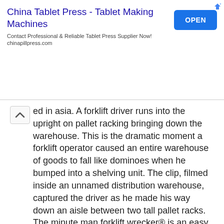[Figure (screenshot): Advertisement banner for China Tablet Press - Tablet Making Machines with an OPEN button]
ed in asia. A forklift driver runs into the upright on pallet racking bringing down the warehouse. This is the dramatic moment a forklift operator caused an entire warehouse of goods to fall like dominoes when he bumped into a shelving unit. The clip, filmed inside an unnamed distribution warehouse, captured the driver as he made his way down an aisle between two tall pallet racks. The minute man forklift wrecker® is an easy, fast, and affordable way to move cars.